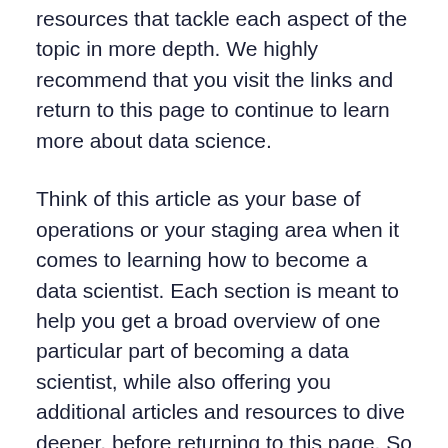resources that tackle each aspect of the topic in more depth. We highly recommend that you visit the links and return to this page to continue to learn more about data science.
Think of this article as your base of operations or your staging area when it comes to learning how to become a data scientist. Each section is meant to help you get a broad overview of one particular part of becoming a data scientist, while also offering you additional articles and resources to dive deeper, before returning to this page. So let's get to it.
What is the Role of a Data